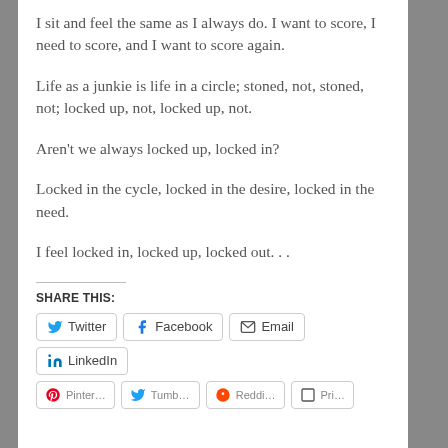I sit and feel the same as I always do. I want to score, I need to score, and I want to score again.
Life as a junkie is life in a circle; stoned, not, stoned, not; locked up, not, locked up, not.
Aren't we always locked up, locked in?
Locked in the cycle, locked in the desire, locked in the need.
I feel locked in, locked up, locked out. . .
SHARE THIS:
Twitter  Facebook  Email  LinkedIn